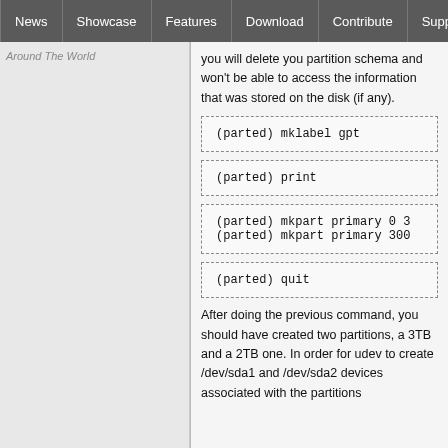News | Showcase | Features | Download | Contribute | Support
Around The World
you will delete you partition schema and won't be able to access the information that was stored on the disk (if any).
After doing the previous command, you should have created two partitions, a 3TB and a 2TB one. In order for udev to create /dev/sda1 and /dev/sda2 devices associated with the partitions